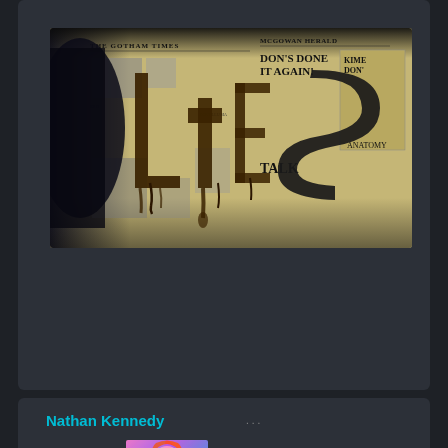[Figure (screenshot): Screenshot of a social media or web interface with dark background. The top card shows a dramatic image of newspaper clippings on a wall with 'LIES' painted in dark dripping letters over them. The newspaper contains a visible headline 'DON'S DONE IT AGAIN' and the word 'TALK'. A shadow of a person is visible at the left. The bottom card shows a user named 'Nathan Kennedy' in teal/cyan text with a colorful avatar image (vibrant multicolored artistic photo of a woman). A blue scroll-to-top button with an up arrow chevron is visible at the bottom right.]